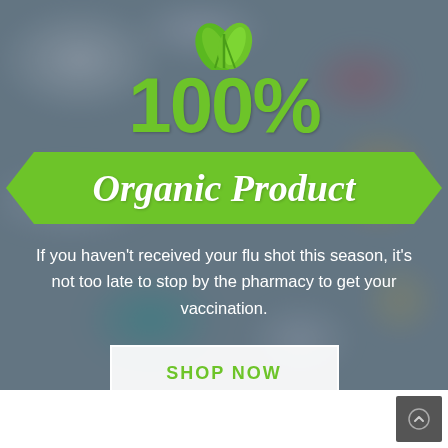[Figure (illustration): Blurred background photo of assorted pharmaceutical pills and capsules in various colors, overlaid with semi-transparent dark blue-grey tint]
100%
Organic Product
If you haven't received your flu shot this season, it's not too late to stop by the pharmacy to get your vaccination.
SHOP NOW